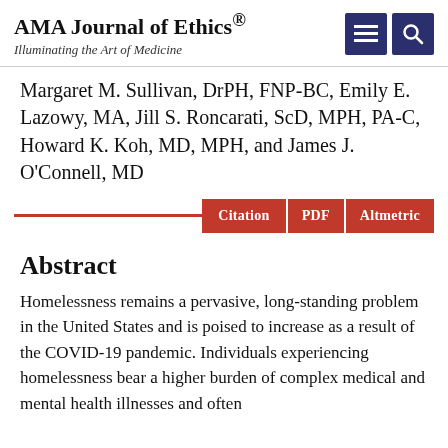AMA Journal of Ethics® — Illuminating the Art of Medicine
Margaret M. Sullivan, DrPH, FNP-BC, Emily E. Lazowy, MA, Jill S. Roncarati, ScD, MPH, PA-C, Howard K. Koh, MD, MPH, and James J. O'Connell, MD
Abstract
Homelessness remains a pervasive, long-standing problem in the United States and is poised to increase as a result of the COVID-19 pandemic. Individuals experiencing homelessness bear a higher burden of complex medical and mental health illnesses and often